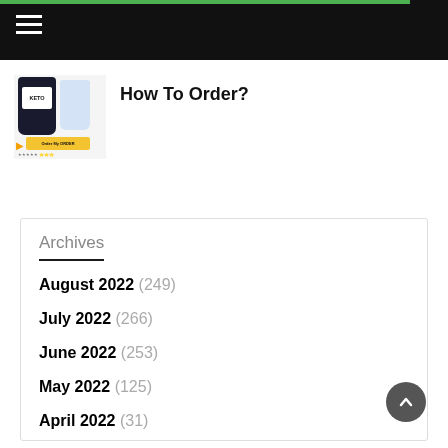Navigation bar with hamburger menu
[Figure (photo): Keto product supplement bottle image with yellow order button]
How To Order?
Archives
August 2022 (249)
July 2022 (266)
June 2022 (253)
May 2022 (125)
April 2022 (31)